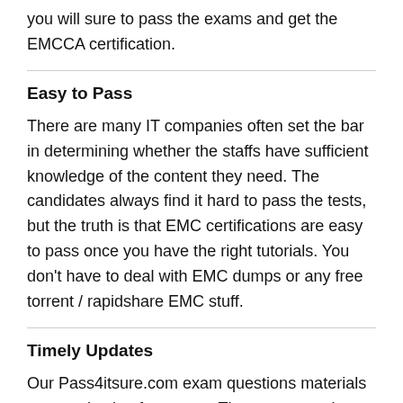you will sure to pass the exams and get the EMCCA certification.
Easy to Pass
There are many IT companies often set the bar in determining whether the staffs have sufficient knowledge of the content they need. The candidates always find it hard to pass the tests, but the truth is that EMC certifications are easy to pass once you have the right tutorials. You don't have to deal with EMC dumps or any free torrent / rapidshare EMC stuff.
Timely Updates
Our Pass4itsure.com exam questions materials are good value for money. They are not only comprehensive but updated timely as well in line with the latest EMC study